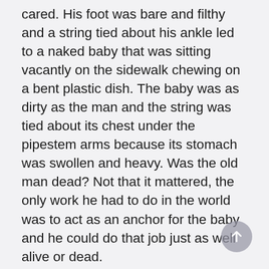cared. His foot was bare and filthy and a string tied about his ankle led to a naked baby that was sitting vacantly on the sidewalk chewing on a bent plastic dish. The baby was as dirty as the man and the string was tied about its chest under the pipestem arms because its stomach was swollen and heavy. Was the old man dead? Not that it mattered, the only work he had to do in the world was to act as an anchor for the baby and he could do that job just as well alive or dead.
Christ but I'm morbid this morning, Andy thought, it must be the heat, I can't sleep well and there are the nightmares. It's this endless summer and all the troubles, one thing just seems to lead to another. First